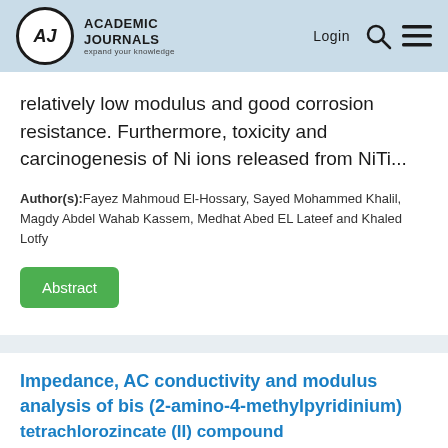Academic Journals | Login
relatively low modulus and good corrosion resistance. Furthermore, toxicity and carcinogenesis of Ni ions released from NiTi...
Author(s):Fayez Mahmoud El-Hossary, Sayed Mohammed Khalil, Magdy Abdel Wahab Kassem, Medhat Abed EL Lateef and Khaled Lotfy
Abstract
Impedance, AC conductivity and modulus analysis of bis (2-amino-4-methylpyridinium) tetrachlorozincate (II) compound